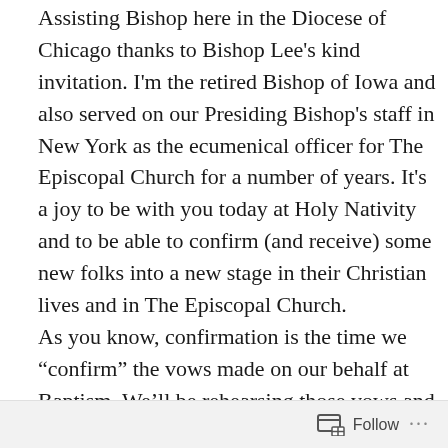Assisting Bishop here in the Diocese of Chicago thanks to Bishop Lee's kind invitation. I'm the retired Bishop of Iowa and also served on our Presiding Bishop's staff in New York as the ecumenical officer for The Episcopal Church for a number of years. It's a joy to be with you today at Holy Nativity and to be able to confirm (and receive) some new folks into a new stage in their Christian lives and in The Episcopal Church. As you know, confirmation is the time we “confirm” the vows made on our behalf at Baptism. We’ll be rehearsing those vows and promises in the Baptismal Covenant in a few minutes. When we “receive” people into our church, that usually means they came to us from another Christian communion or denomination and now wish to live out their Christian commitments with us here in The Episcopal
Follow